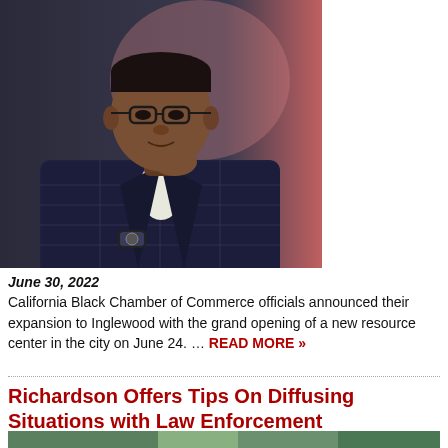[Figure (photo): Professional headshot of a Black man in a dark plaid blazer, wearing glasses, with hand raised to chin in a thoughtful pose, wearing a watch.]
June 30, 2022
California Black Chamber of Commerce officials announced their expansion to Inglewood with the grand opening of a new resource center in the city on June 24. … READ MORE »
Richardson Offers Tips On Diffusing Situations with Law Enforcement
[Figure (photo): Partial photo visible at bottom of page, appears to show outdoor scene.]